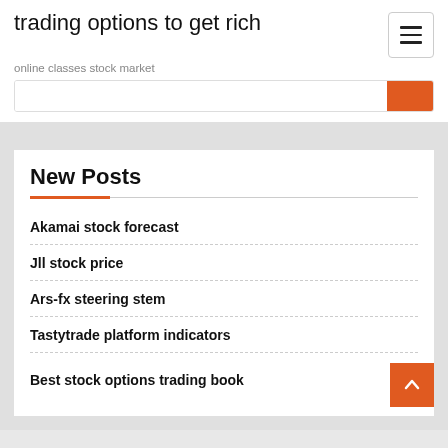trading options to get rich
online classes stock market
New Posts
Akamai stock forecast
Jll stock price
Ars-fx steering stem
Tastytrade platform indicators
Best stock options trading book